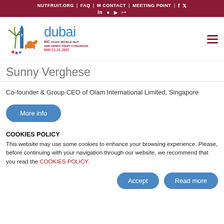NUTFRUIT.ORG | FAQ | CONTACT | MEETING POINT | f | twitter | in | instagram | youtube | flickr
[Figure (logo): INC XXXIX World Nut and Dried Fruit Congress Dubai, May 11-13, 2022 logo with palm tree, tower and camel illustration]
Sunny Verghese
Co-founder & Group CEO of Olam International Limited, Singapore
More info
COOKIES POLICY
This website may use some cookies to enhance your browsing experience. Please, before continuing with your navigation through our website, we recommend that you read the COOKIES POLICY.
Accept   Read more